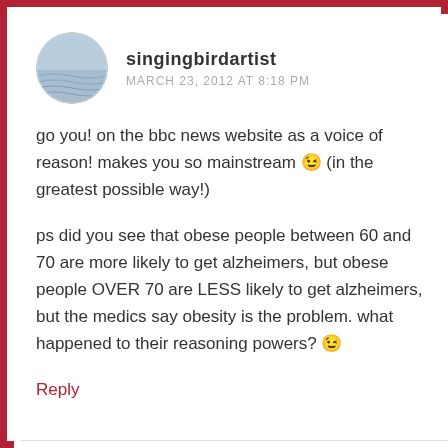[Figure (illustration): Circular avatar image of a user showing water/sky background]
singingbirdartist
MARCH 23, 2012 AT 8:18 PM
go you! on the bbc news website as a voice of reason! makes you so mainstream 😉 (in the greatest possible way!)
ps did you see that obese people between 60 and 70 are more likely to get alzheimers, but obese people OVER 70 are LESS likely to get alzheimers, but the medics say obesity is the problem. what happened to their reasoning powers? 😉
Reply